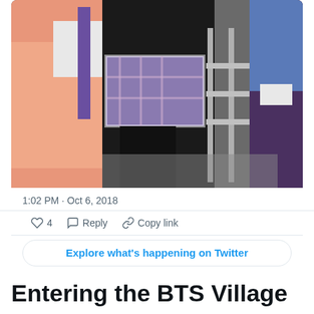[Figure (photo): A cropped photo showing people standing near a metal barrier/railing. One person wears a pink outfit with a purple strap/bag, another wears a plaid skirt with black leggings, and another on the right wears a denim jacket and dark pants.]
1:02 PM · Oct 6, 2018
4  Reply  Copy link
Explore what's happening on Twitter
Entering the BTS Village
[Figure (photo): Bottom edge of another photo, partially visible, showing warm orange/tan tones.]